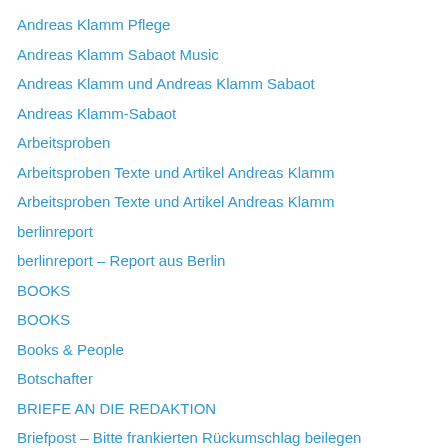Andreas Klamm Pflege
Andreas Klamm Sabaot Music
Andreas Klamm und Andreas Klamm Sabaot
Andreas Klamm-Sabaot
Arbeitsproben
Arbeitsproben Texte und Artikel Andreas Klamm
Arbeitsproben Texte und Artikel Andreas Klamm
berlinreport
berlinreport – Report aus Berlin
BOOKS
BOOKS
Books & People
Botschafter
BRIEFE AN DIE REDAKTION
Briefpost – Bitte frankierten Rückumschlag beilegen
Bücher
Bücher
Buchlesungen
Contact
Contact